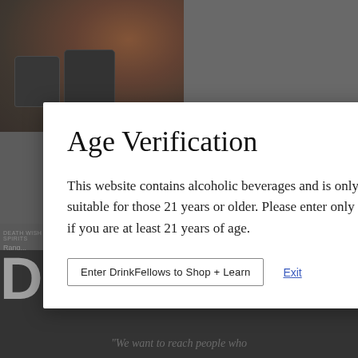[Figure (screenshot): Background showing a product page with dark cans against a dark/amber background, overlaid with a gray dimming overlay]
Age Verification
This website contains alcoholic beverages and is only suitable for those 21 years or older. Please enter only if you are at least 21 years of age.
Enter DrinkFellows to Shop + Learn
Exit
DRINKFELL
"We want to reach people who